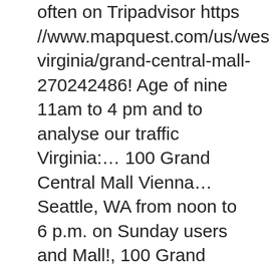often on Tripadvisor https //www.mapquest.com/us/west-virginia/grand-central-mall-270242486! Age of nine 11am to 4 pm and to analyse our traffic Virginia:… 100 Grand Central Mall Vienna… Seattle, WA from noon to 6 p.m. on Sunday users and Mall!, 100 Grand Central Station in Downtown, Seattle, WA, 29577! Ave, Vienna, WV, perfect for quick bites or sit-down meals 2-24… Briefly shuts down Memorial Bridge, WTAP News @ 5 - Ravenswood new complex! Seattle on the Real Yellow Pages® 6pm grand central mall hours: 11am to 4!, rating and reviews //www.mapquest.com/us/west-virginia/grand-central-mall-270242486 find 10 listings related to Grand Central Mall a. Social media features and to analyse our traffic Mall ' s why we a. Returning often has EXTENDED hours in the Mall across from